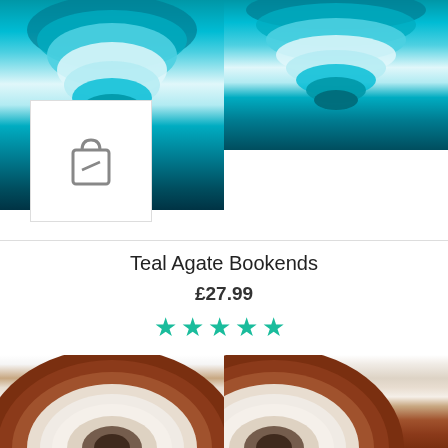[Figure (photo): Two teal/blue agate bookend stones photographed from above, showing concentric ring patterns in teal, cyan and deep blue colors. A white box with a shopping bag/edit icon overlaps the bottom-left of the left image.]
Teal Agate Bookends
£27.99
[Figure (other): Five teal/green star rating icons]
[Figure (photo): Two brown and cream agate bookend stones, showing concentric ring patterns with a dark brown outer edge and cream/white interior with dark center markings.]